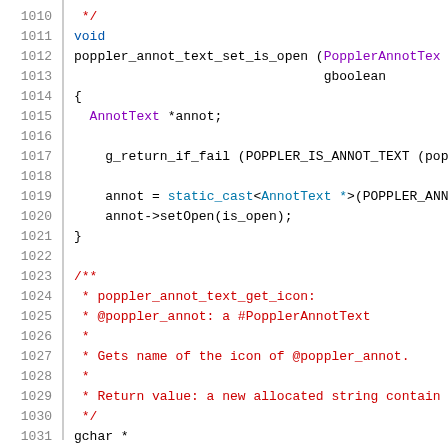Code listing lines 1010–1031 showing C++ source code for poppler_annot_text_set_is_open function and beginning of poppler_annot_text_get_icon documentation comment